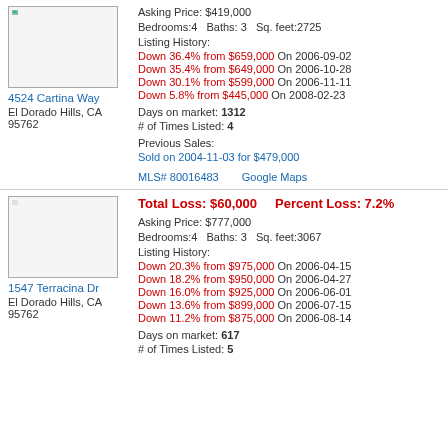[Figure (photo): Property photo placeholder for 4524 Cartina Way]
4524 Cartina Way
El Dorado Hills, CA 95762
Asking Price: $419,000
Bedrooms:4   Baths: 3   Sq. feet:2725
Listing History:
Down 36.4% from $659,000 On 2006-09-02
Down 35.4% from $649,000 On 2006-10-28
Down 30.1% from $599,000 On 2006-11-11
Down 5.8% from $445,000 On 2008-02-23
Days on market: 1312
# of Times Listed: 4
Previous Sales:
Sold on 2004-11-03 for $479,000
MLS# 80016483   Google Maps
[Figure (photo): Property photo placeholder for 1547 Terracina Dr]
1547 Terracina Dr
El Dorado Hills, CA 95762
Total Loss: $60,000   Percent Loss: 7.2%
Asking Price: $777,000
Bedrooms:4   Baths: 3   Sq. feet:3067
Listing History:
Down 20.3% from $975,000 On 2006-04-15
Down 18.2% from $950,000 On 2006-04-27
Down 16.0% from $925,000 On 2006-06-01
Down 13.6% from $899,000 On 2006-07-15
Down 11.2% from $875,000 On 2006-08-14
Days on market: 617
# of Times Listed: 5